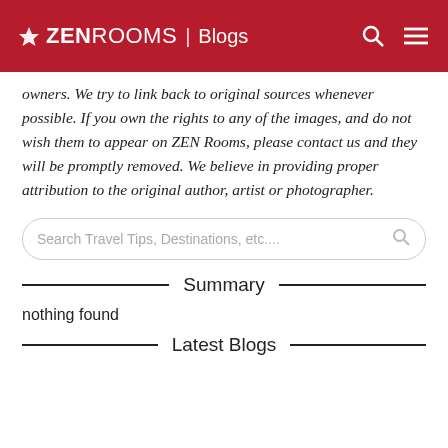ZEN ROOMS | Blogs
owners. We try to link back to original sources whenever possible. If you own the rights to any of the images, and do not wish them to appear on ZEN Rooms, please contact us and they will be promptly removed. We believe in providing proper attribution to the original author, artist or photographer.
Search Travel Tips, Destinations, etc....
Summary
nothing found
Latest Blogs